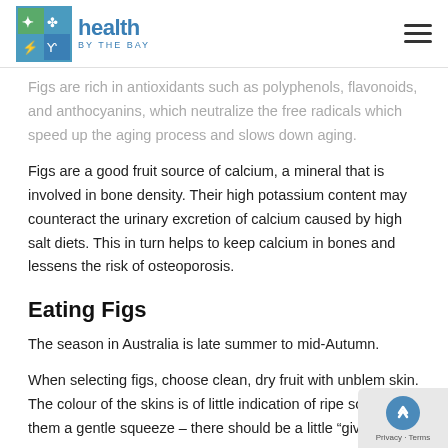health by the bay
Figs are rich in antioxidants such as polyphenols, flavonoids, and anthocyanins, which neutralize the free radicals which speed up the aging process and slows down aging.
Figs are a good fruit source of calcium, a mineral that is involved in bone density. Their high potassium content may counteract the urinary excretion of calcium caused by high salt diets. This in turn helps to keep calcium in bones and lessens the risk of osteoporosis.
Eating Figs
The season in Australia is late summer to mid-Autumn.
When selecting figs, choose clean, dry fruit with unblem skin. The colour of the skins is of little indication of ripe so give them a gentle squeeze – there should be a little "give"